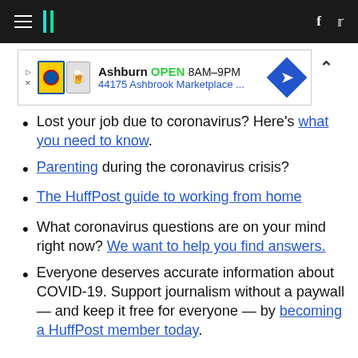HuffPost navigation bar with hamburger menu, logo, Facebook and Twitter icons
[Figure (other): Ad banner: Ashburn OPEN 8AM-9PM, 44175 Ashbrook Marketplace ...]
Lost your job due to coronavirus? Here's what you need to know.
Parenting during the coronavirus crisis?
The HuffPost guide to working from home
What coronavirus questions are on your mind right now? We want to help you find answers.
Everyone deserves accurate information about COVID-19. Support journalism without a paywall — and keep it free for everyone — by becoming a HuffPost member today.